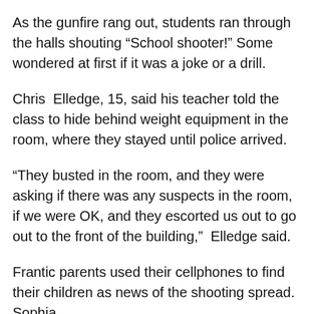As the gunfire rang out, students ran through the halls shouting “School shooter!” Some wondered at first if it was a joke or a drill.
Chris Elledge, 15, said his teacher told the class to hide behind weight equipment in the room, where they stayed until police arrived.
“They busted in the room, and they were asking if there was any suspects in the room, if we were OK, and they escorted us out to go out to the front of the building,” Elledge said.
Frantic parents used their cellphones to find their children as news of the shooting spread. Sophia